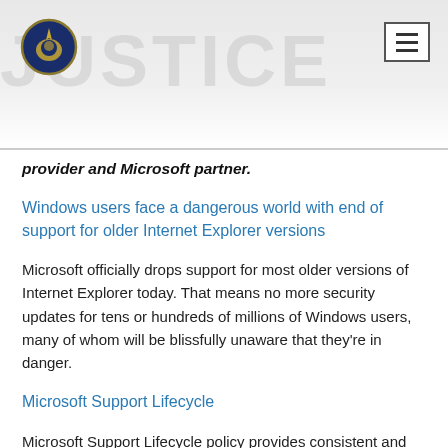JUSTICE — site header with logo and navigation menu button
provider and Microsoft partner.
Windows users face a dangerous world with end of support for older Internet Explorer versions
Microsoft officially drops support for most older versions of Internet Explorer today. That means no more security updates for tens or hundreds of millions of Windows users, many of whom will be blissfully unaware that they're in danger.
Microsoft Support Lifecycle
Microsoft Support Lifecycle policy provides consistent and predictable guidelines for product support